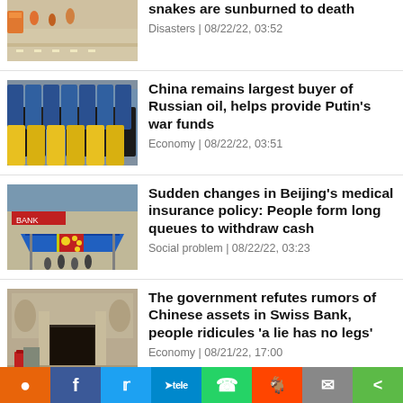[Figure (photo): Street scene with people walking, partial top crop]
snakes are sunburned to death
Disasters | 08/22/22, 03:52
[Figure (photo): Blue oil barrels/drums stacked in rows]
China remains largest buyer of Russian oil, helps provide Putin's war funds
Economy | 08/22/22, 03:51
[Figure (photo): Street scene with blue tent/canopy and bank building]
Sudden changes in Beijing's medical insurance policy: People form long queues to withdraw cash
Social problem | 08/22/22, 03:23
[Figure (photo): Building entrance with stone sculptures/reliefs]
The government refutes rumors of Chinese assets in Swiss Bank, people ridicules 'a lie has no legs'
Economy | 08/21/22, 17:00
Social share bar with icons: location pin, Facebook, Twitter, Telegram, WhatsApp, Reddit, Mail, Share